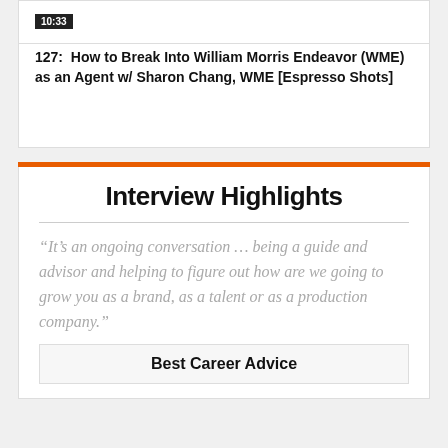[Figure (screenshot): Timestamp badge showing 10:33 in dark background]
127:  How to Break Into William Morris Endeavor (WME) as an Agent w/ Sharon Chang, WME [Espresso Shots]
Interview Highlights
“It’s an ongoing conversation … being a guide and advisor and helping to figure out how are we going to grow you as a brand, as a talent or as a production company.”
Best Career Advice